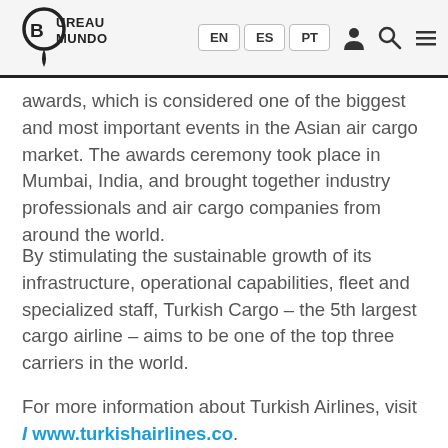Bureau Mundo — EN ES PT [navigation icons]
awards, which is considered one of the biggest and most important events in the Asian air cargo market. The awards ceremony took place in Mumbai, India, and brought together industry professionals and air cargo companies from around the world.
By stimulating the sustainable growth of its infrastructure, operational capabilities, fleet and specialized staff, Turkish Cargo – the 5th largest cargo airline – aims to be one of the top three carriers in the world.
For more information about Turkish Airlines, visit I www.turkishairlines.co.